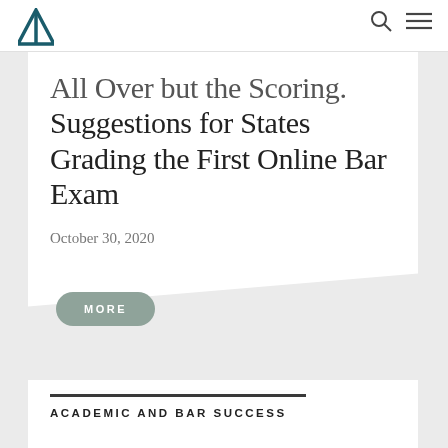[Figure (logo): Triangle/mountain logo mark in dark teal]
All Over but the Scoring. Suggestions for States Grading the First Online Bar Exam
October 30, 2020
MORE
ACADEMIC AND BAR SUCCESS